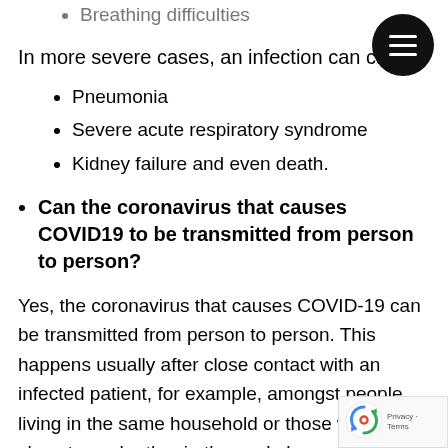Breathing difficulties
In more severe cases, an infection can cause
Pneumonia
Severe acute respiratory syndrome
Kidney failure and even death.
Can the coronavirus that causes COVID19 to be transmitted from person to person?
Yes, the coronavirus that causes COVID-19 can be transmitted from person to person. This happens usually after close contact with an infected patient, for example, amongst people living in the same household or those who are close to each other in the workplace, or health care center, or for that matter any enclosed environment. The virus is able to move from human to human through close contacts such as coughing, sneezing, laughing directly onto someone. It can also spread when hands are not washed properly and might be